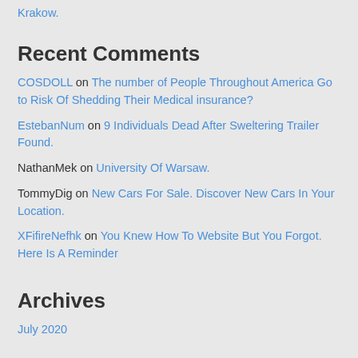Krakow.
Recent Comments
COSDOLL on The number of People Throughout America Go to Risk Of Shedding Their Medical insurance?
EstebanNum on 9 Individuals Dead After Sweltering Trailer Found.
NathanMek on University Of Warsaw.
TommyDig on New Cars For Sale. Discover New Cars In Your Location.
XFifireNefhk on You Knew How To Website But You Forgot. Here Is A Reminder
Archives
July 2020